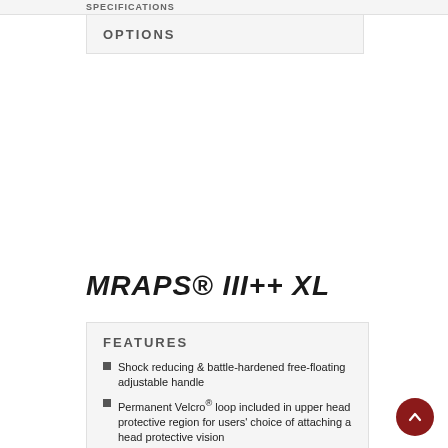SPECIFICATIONS
OPTIONS
MRAPS® III++ XL
FEATURES
Shock reducing & battle-hardened free-floating adjustable handle
Permanent Velcro® loop included in upper head protective region for users' choice of attaching a head protective vision